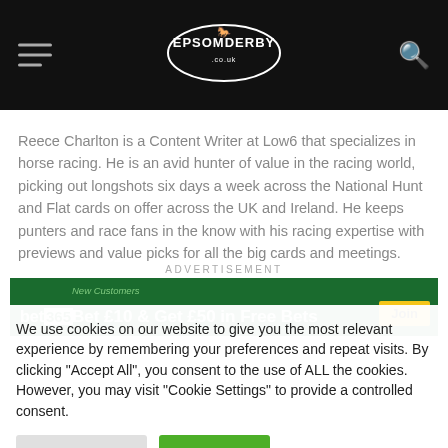EPSOM DERBY
Reece Charlton is a Content Writer at Low6 that specializes in horse racing. He is an avid hunter of value in the racing world, picking out longshots six days a week across the National Hunt and Flat cards on offer across the UK and Ireland. He keeps punters and race fans in the know with his racing expertise with previews and value picks for all the big cards and meetings.
ADVERTISEMENT
[Figure (other): bet365 advertisement banner: New Customers - Bet £10 & Get £50 in Free Bets - Join button]
We use cookies on our website to give you the most relevant experience by remembering your preferences and repeat visits. By clicking "Accept All", you consent to the use of ALL the cookies. However, you may visit "Cookie Settings" to provide a controlled consent.
Cookie Settings
Accept All